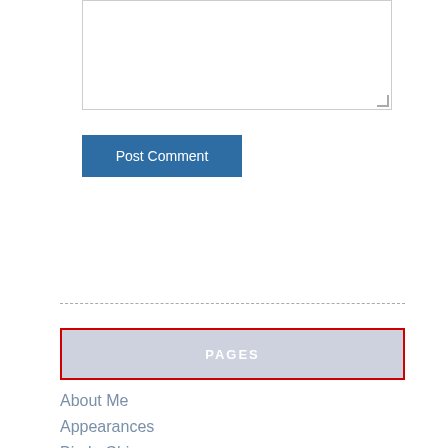[Figure (other): Text area input box with resize handle]
Post Comment
PAGES
About Me
Appearances
Big In China
Blog
Buy The Book – One Way Out